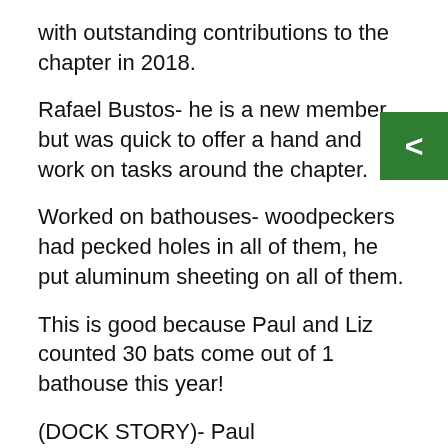with outstanding contributions to the chapter in 2018.
Rafael Bustos- he is a new member, but was quick to offer a hand and work on tasks around the chapter.
Worked on bathouses- woodpeckers had pecked holes in all of them, he put aluminum sheeting on all of them.
This is good because Paul and Liz counted 30 bats come out of 1 bathouse this year!
(DOCK STORY)- Paul
He's more than happy to help any time we ask. Members that are always willing to help and spring into action is exactly what we need!
2) Gordy Bratsch Award- named after our old